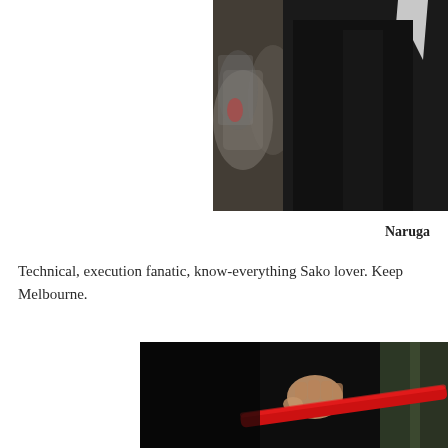[Figure (photo): Partial view of a person in a black jacket with white shirt collar visible, blurred crowd in the background]
Naruga
Technical, execution fanatic, know-everything Sako lover. Keep... Melbourne.
[Figure (photo): Person holding a red object (appears to be a red stick or bar) against a dark background]